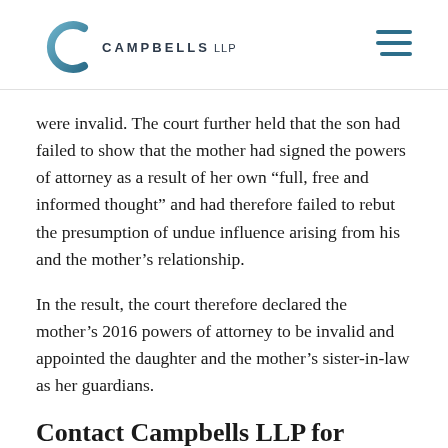CAMPBELLS LLP
were invalid. The court further held that the son had failed to show that the mother had signed the powers of attorney as a result of her own “full, free and informed thought” and had therefore failed to rebut the presumption of undue influence arising from his and the mother’s relationship.
In the result, the court therefore declared the mother’s 2016 powers of attorney to be invalid and appointed the daughter and the mother’s sister-in-law as her guardians.
Contact Campbells LLP for